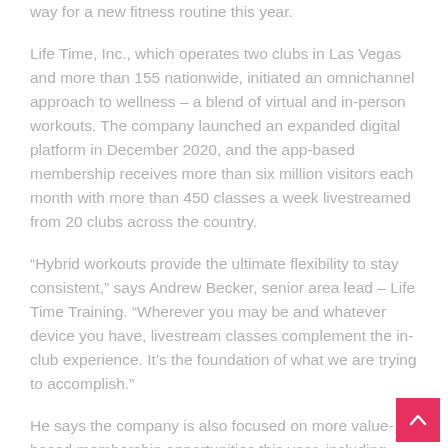way for a new fitness routine this year.
Life Time, Inc., which operates two clubs in Las Vegas and more than 155 nationwide, initiated an omnichannel approach to wellness – a blend of virtual and in-person workouts. The company launched an expanded digital platform in December 2020, and the app-based membership receives more than six million visitors each month with more than 450 classes a week livestreamed from 20 clubs across the country.
“Hybrid workouts provide the ultimate flexibility to stay consistent,” says Andrew Becker, senior area lead – Life Time Training. “Wherever you may be and whatever device you have, livestream classes complement the in-club experience. It’s the foundation of what we are trying to accomplish.”
He says the company is also focused on more value-based membership opportunities this year, including adding new programming to its digital membership, expanding the Kids Studios and GameFace Sport classes, and providing its signature membership with unlimited small group training classes. In addition, the company plans to grow its nationwide